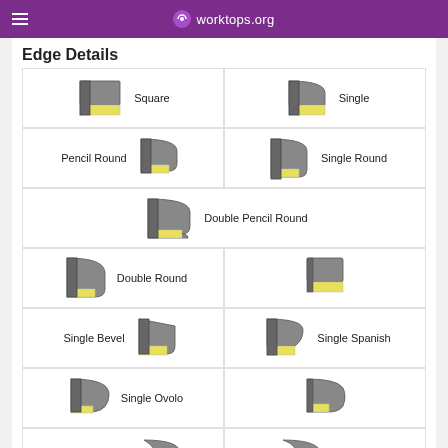worktops.org
Edge Details
[Figure (illustration): Grid of worktop edge profile illustrations showing: Square, Single, Pencil Round, Single Round, Double Pencil Round, Double Round, Single Bevel, Single Spanish, Single Ovolo, Single Imperial, Bullnose, and partial entries at bottom. Each shows a 3D rendered edge profile in grey/dark grey with a yellow laminate underside.]